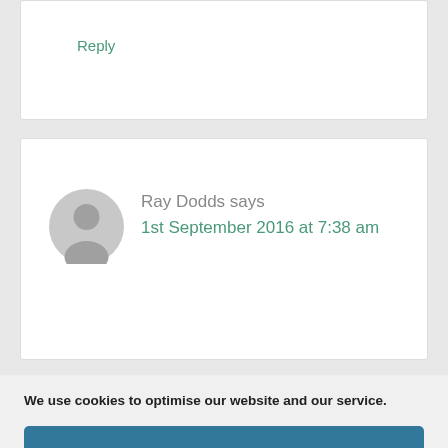Reply
Ray Dodds says
1st September 2016 at 7:38 am
We use cookies to optimise our website and our service.
Accept
Dismiss
Preferences